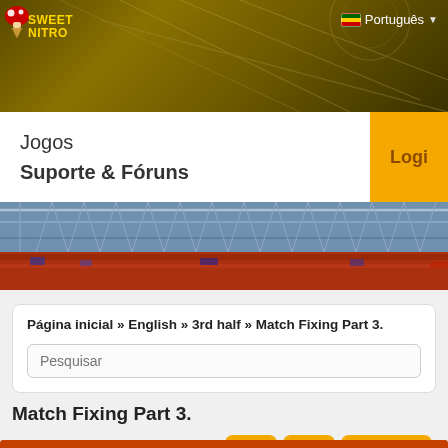Sweet Nitro — Português
Jogos
Suporte & Fóruns
[Figure (photo): Stadium photo strip showing truss structure with crowd in background]
Página inicial » English » 3rd half » Match Fixing Part 3.
Pesquisar
Match Fixing Part 3.
« ‹ 18 / 18 ▼